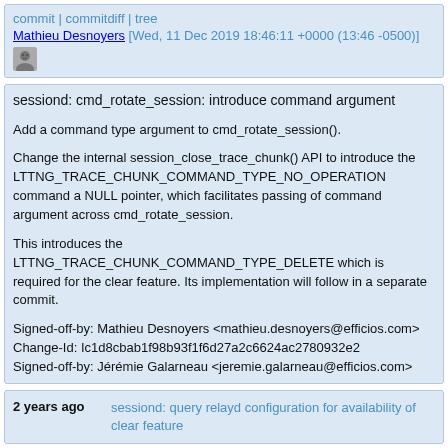commit | commitdiff | tree
Mathieu Desnoyers [Wed, 11 Dec 2019 18:46:11 +0000 (13:46 -0500)]
sessiond: cmd_rotate_session: introduce command argument

Add a command type argument to cmd_rotate_session().

Change the internal session_close_trace_chunk() API to introduce the LTTNG_TRACE_CHUNK_COMMAND_TYPE_NO_OPERATION command a NULL pointer, which facilitates passing of command argument across cmd_rotate_session.

This introduces the LTTNG_TRACE_CHUNK_COMMAND_TYPE_DELETE which is required for the clear feature. Its implementation will follow in a separate commit.

Signed-off-by: Mathieu Desnoyers <mathieu.desnoyers@efficios.com>
Change-Id: Ic1d8cbab1f98b93f1f6d27a2c6624ac2780932e2
Signed-off-by: Jérémie Galarneau <jeremie.galarneau@efficios.com>
2 years ago	sessiond: query relayd configuration for availability of clear feature